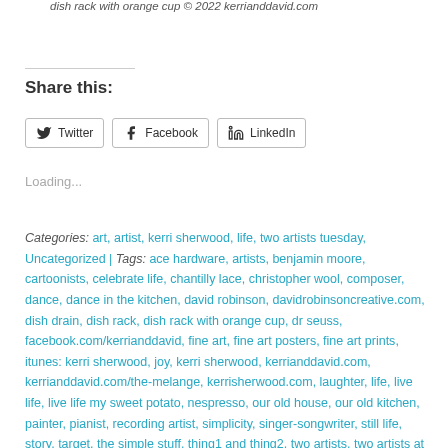dish rack with orange cup © 2022 kerrianddavid.com
Share this:
Loading...
Categories: art, artist, kerri sherwood, life, two artists tuesday, Uncategorized | Tags: ace hardware, artists, benjamin moore, cartoonists, celebrate life, chantilly lace, christopher wool, composer, dance, dance in the kitchen, david robinson, davidrobinsoncreative.com, dish drain, dish rack, dish rack with orange cup, dr seuss, facebook.com/kerrianddavid, fine art, fine art posters, fine art prints, itunes: kerri sherwood, joy, kerri sherwood, kerrianddavid.com, kerrianddavid.com/the-melange, kerrisherwood.com, laughter, life, live life, live life my sweet potato, nespresso, our old house, our old kitchen, painter, pianist, recording artist, simplicity, singer-songwriter, still life, story, target, the simple stuff, thing1 and thing2, two artists, two artists at home, two artists living together, two